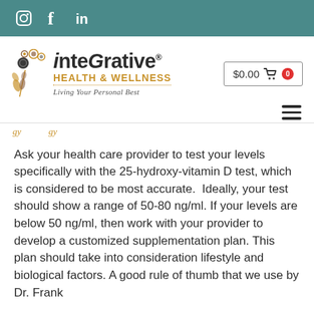Instagram | Facebook | LinkedIn
[Figure (logo): Integrative Health & Wellness logo with decorative circular motif and tagline 'Living Your Personal Best']
$0.00  0
Ask your health care provider to test your levels specifically with the 25-hydroxy-vitamin D test, which is considered to be most accurate.  Ideally, your test should show a range of 50-80 ng/ml. If your levels are below 50 ng/ml, then work with your provider to develop a customized supplementation plan. This plan should take into consideration lifestyle and biological factors. A good rule of thumb that we use by Dr. Frank